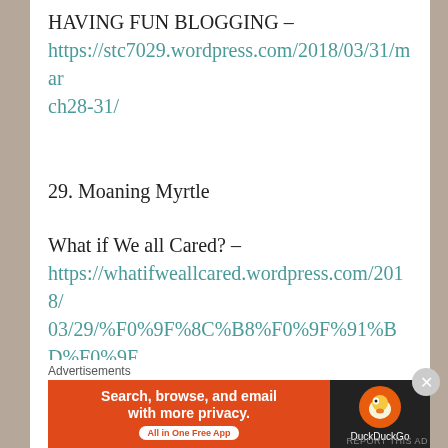HAVING FUN BLOGGING – https://stc7029.wordpress.com/2018/03/31/march28-31/
29. Moaning Myrtle
What if We all Cared? – https://whatifweallcared.wordpress.com/2018/03/29/%F0%9F%8C%B8%F0%9F%91%BD%F0%9F%8C%BA/
Night Owl Poetry –
Advertisements
[Figure (infographic): DuckDuckGo advertisement banner: 'Search, browse, and email with more privacy. All in One Free App' with DuckDuckGo logo on dark background]